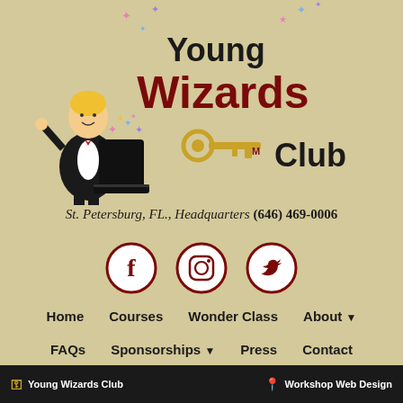[Figure (logo): Young Wizards Club logo with cartoon magician boy, magic hat, sparkles/stars, and golden key icon. Text reads 'Young Wizards Club' in dark red/maroon bold font.]
St. Petersburg, FL., Headquarters (646) 469-0006
[Figure (illustration): Three circular social media icons (Facebook, Instagram, Twitter) with dark red borders on white backgrounds.]
Home
Courses
Wonder Class
About ▾
FAQs
Sponsorships ▾
Press
Contact
🔑 Young Wizards Club    📍 Workshop Web Design